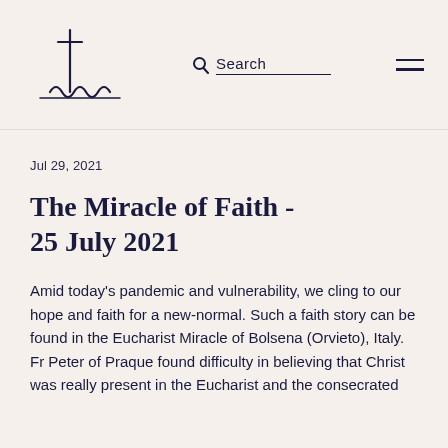Search
Jul 29, 2021
The Miracle of Faith - 25 July 2021
Amid today's pandemic and vulnerability, we cling to our hope and faith for a new-normal. Such a faith story can be found in the Eucharist Miracle of Bolsena (Orvieto), Italy. Fr Peter of Praque found difficulty in believing that Christ was really present in the Eucharist and the consecrated